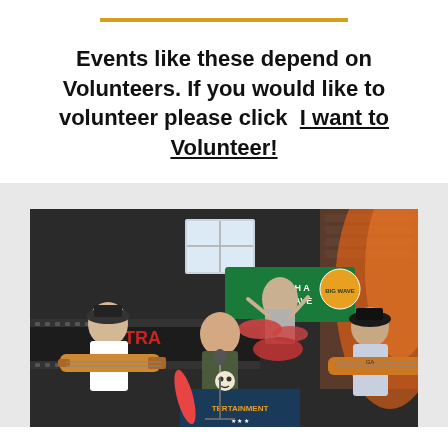Events like these depend on Volunteers. If you would like to volunteer please click  I want to Volunteer!
[Figure (photo): A band performing on stage with a 'Catch A Big Wave' banner in the background. Multiple musicians visible including a guitarist, vocalist, and drummer, with stage lighting and smoke effects.]